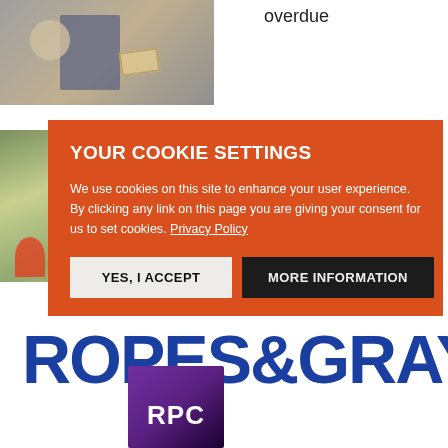overdue
[Figure (photo): Office scene with businessman holding a clock and a skeleton, stacks of papers labeled 'PAST DUE']
ious
[Figure (photo): Outdoor countryside scene, partially visible]
[Figure (other): Cookie consent overlay dialog with orange background]
YOUR COOKIE SETTINGS
We use cookies on this site to enhance your user experience. By clicking any link on this page you are giving your consent for us to set cookies. Privacy Policy
YES, I ACCEPT
MORE INFORMATION
[Figure (logo): Ropes & Gray law firm logo in blue text]
[Figure (logo): RPC logo with purple gradient square and white RPC text]